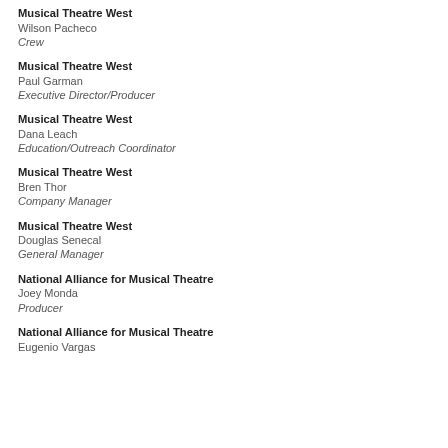Musical Theatre West
Wilson Pacheco
Crew
Musical Theatre West
Paul Garman
Executive Director/Producer
Musical Theatre West
Dana Leach
Education/Outreach Coordinator
Musical Theatre West
Bren Thor
Company Manager
Musical Theatre West
Douglas Senecal
General Manager
National Alliance for Musical Theatre
Joey Monda
Producer
National Alliance for Musical Theatre
Eugenio Vargas